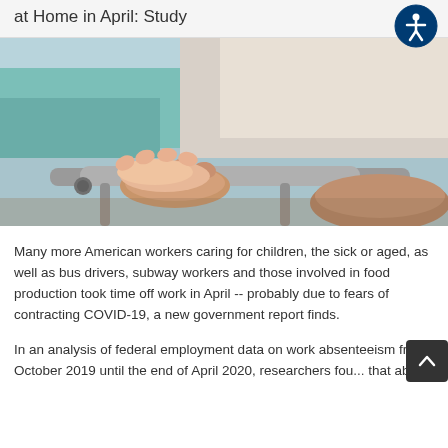at Home in April: Study
[Figure (photo): Close-up photo of a caregiver's hands gently holding the hands of an elderly person gripping a walker frame]
Many more American workers caring for children, the sick or aged, as well as bus drivers, subway workers and those involved in food production took time off work in April -- probably due to fears of contracting COVID-19, a new government report finds.
In an analysis of federal employment data on work absenteeism from October 2019 until the end of April 2020, researchers fou... that abs...